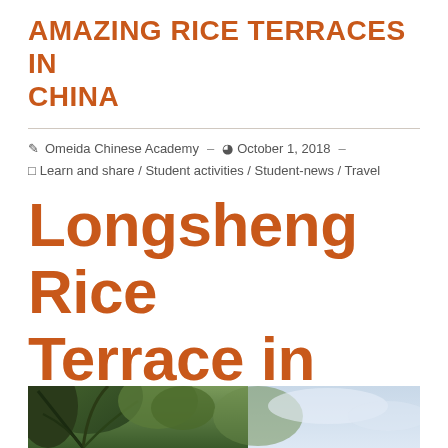AMAZING RICE TERRACES IN CHINA
Omeida Chinese Academy  -  October 1, 2018  -  Learn and share / Student activities / Student-news / Travel
Longsheng Rice Terrace in China
[Figure (photo): Photograph of trees and landscape at Longsheng Rice Terrace, with palm-like foliage in foreground and sky in background]